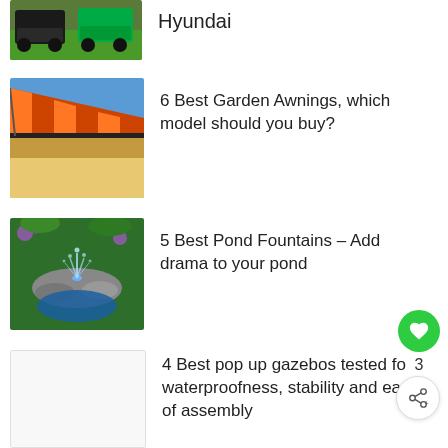[Figure (photo): Two lawn mowers on grass, partially visible at top of page]
Hyundai
[Figure (photo): Orange and yellow striped retractable garden awning against blue sky]
6 Best Garden Awnings, which model should you buy?
[Figure (photo): Garden pond fountain with water splashing, surrounded by plants and rocks]
5 Best Pond Fountains – Add drama to your pond
[Figure (photo): Blank/white placeholder image for gazebo article]
4 Best pop up gazebos tested for waterproofness, stability and ease of assembly